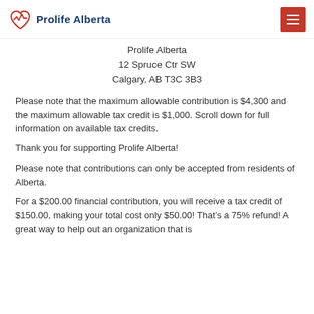Prolife Alberta
Prolife Alberta
12 Spruce Ctr SW
Calgary, AB T3C 3B3
Please note that the maximum allowable contribution is $4,300 and the maximum allowable tax credit is $1,000. Scroll down for full information on available tax credits.
Thank you for supporting Prolife Alberta!
Please note that contributions can only be accepted from residents of Alberta.
For a $200.00 financial contribution, you will receive a tax credit of $150.00, making your total cost only $50.00! That’s a 75% refund! A great way to help out an organization that is